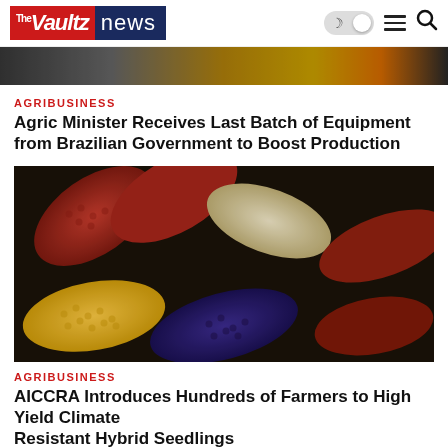The Vaultz News
[Figure (photo): Partial view of agricultural equipment or machinery, orange and dark tones]
AGRIBUSINESS
Agric Minister Receives Last Batch of Equipment from Brazilian Government to Boost Production
[Figure (photo): Colorful corn cobs arranged together showing red, yellow, purple, and white varieties]
AGRIBUSINESS
AICCRA Introduces Hundreds of Farmers to High Yield Climate Resistant Hybrid Seedlings